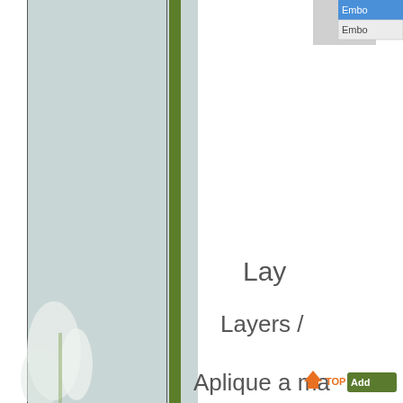[Figure (screenshot): UI dropdown/menu showing 'Embo' highlighted in blue and 'Embo' text in gray below, top-right corner of page]
[Figure (illustration): Left sidebar with light blue-gray background, black border on left and right, with a green vertical bar on the right side. A white/cream flower (lily) is partially visible at the bottom-left.]
Lay
Layers /
Aplique a ma
[Figure (screenshot): Bottom-right UI elements: orange arrow 'TOP' button and 'Add' button]